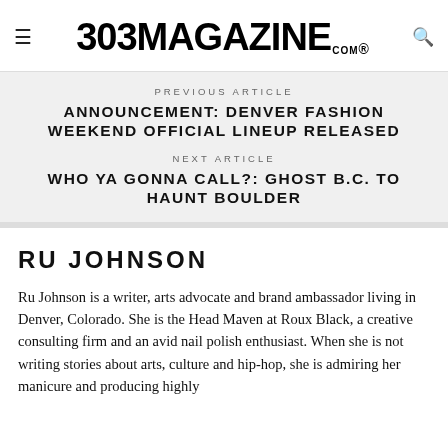303 MAGAZINE .COM ®
PREVIOUS ARTICLE
ANNOUNCEMENT: DENVER FASHION WEEKEND OFFICIAL LINEUP RELEASED
NEXT ARTICLE
WHO YA GONNA CALL?: GHOST B.C. TO HAUNT BOULDER
RU JOHNSON
Ru Johnson is a writer, arts advocate and brand ambassador living in Denver, Colorado. She is the Head Maven at Roux Black, a creative consulting firm and an avid nail polish enthusiast. When she is not writing stories about arts, culture and hip-hop, she is admiring her manicure and producing highly